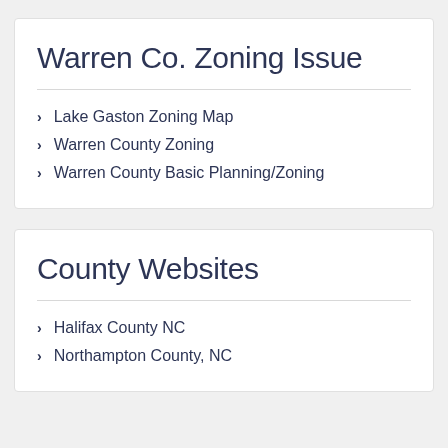Warren Co. Zoning Issue
Lake Gaston Zoning Map
Warren County Zoning
Warren County Basic Planning/Zoning
County Websites
Halifax County NC
Northampton County, NC